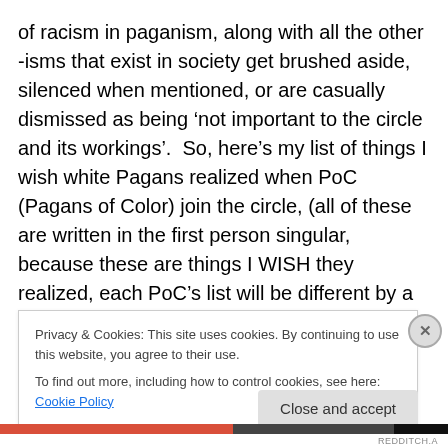of racism in paganism, along with all the other -isms that exist in society get brushed aside, silenced when mentioned, or are casually dismissed as being 'not important to the circle and its workings'.  So, here's my list of things I wish white Pagans realized when PoC (Pagans of Color) join the circle, (all of these are written in the first person singular, because these are things I WISH they realized, each PoC's list will be different by a little or a lot, that is part of the joy of dealing with people NOT as a single voice for their ETHNICITY OR RACE, but as the INDIVIDUALS they ARE):
Privacy & Cookies: This site uses cookies. By continuing to use this website, you agree to their use.
To find out more, including how to control cookies, see here: Cookie Policy